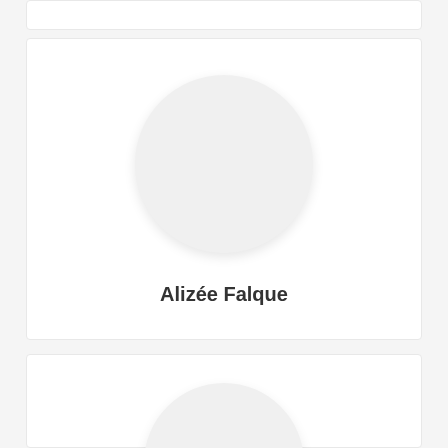[Figure (other): Partial card at top of page, cropped]
[Figure (illustration): Profile card with circular avatar placeholder and name 'Alizée Falque']
Alizée Falque
[Figure (illustration): Partial profile card at bottom, showing a circular avatar placeholder, cropped at page bottom]